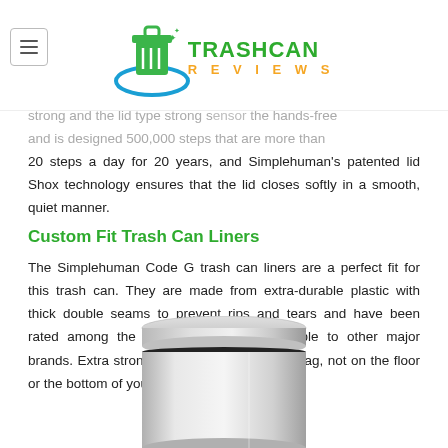Trash Can Reviews
strong and the lid type strong sensor the hands-free and is designed 500,000 steps that are more than 20 steps a day for 20 years, and Simplehuman's patented lid Shox technology ensures that the lid closes softly in a smooth, quiet manner.
Custom Fit Trash Can Liners
The Simplehuman Code G trash can liners are a perfect fit for this trash can. They are made from extra-durable plastic with thick double seams to prevent rips and tears and have been rated among the top in strength comparable to other major brands. Extra strong to keep garbage in the bag, not on the floor or the bottom of your trash can.
[Figure (photo): A stainless steel cylindrical trash can with a black seam around the lid, viewed from slightly above.]